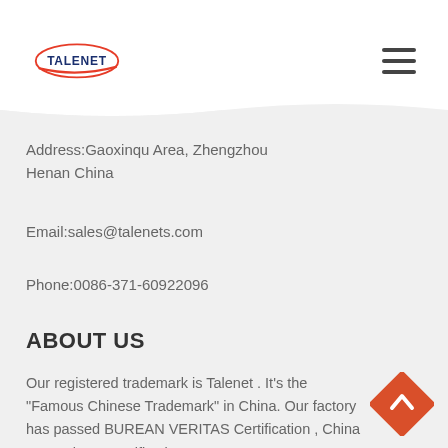TALENET
Address:Gaoxinqu Area, Zhengzhou Henan China
Email:sales@talenets.com
Phone:0086-371-60922096
ABOUT US
Our registered trademark is Talenet . It's the "Famous Chinese Trademark" in China. Our factory has passed BUREAN VERITAS Certification , China Compulsory Certification, ISO 9001: 2015 etc. We have exported to more than 35 countries more than 8,000 trucks every year.